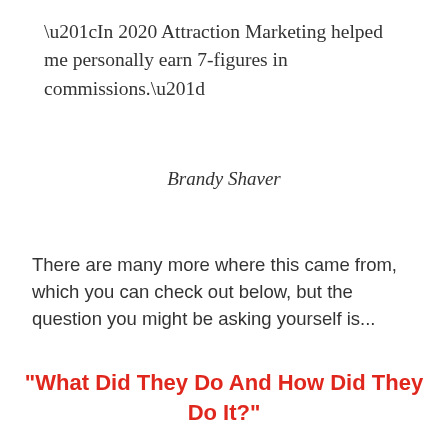“In 2020 Attraction Marketing helped me personally earn 7-figures in commissions.”
Brandy Shaver
There are many more where this came from, which you can check out below, but the question you might be asking yourself is…
“What Did They Do And How Did They Do It?”